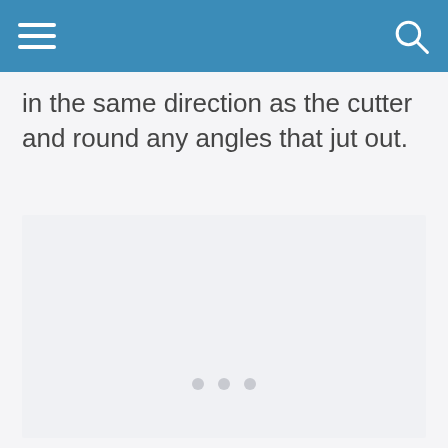in the same direction as the cutter and round any angles that jut out.
[Figure (other): Large light grey image/content placeholder area with three small light grey dots near the bottom center, indicating a loading or carousel indicator.]